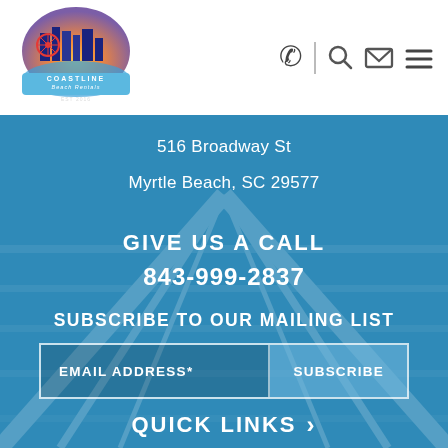[Figure (logo): Coastline Beach Rentals logo with colorful beach cityscape and banner, EST 2016]
[Figure (infographic): Navigation icons: phone handset, vertical divider, search magnifier, envelope, hamburger menu]
516 Broadway St
Myrtle Beach, SC 29577
GIVE US A CALL
843-999-2837
SUBSCRIBE TO OUR MAILING LIST
EMAIL ADDRESS*
SUBSCRIBE
QUICK LINKS  ›